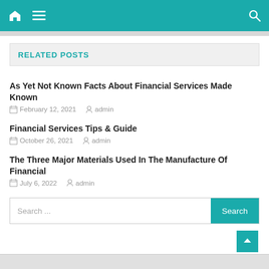Navigation bar with home icon, menu icon, and search icon
RELATED POSTS
As Yet Not Known Facts About Financial Services Made Known
February 12, 2021   admin
Financial Services Tips & Guide
October 26, 2021   admin
The Three Major Materials Used In The Manufacture Of Financial
July 6, 2022   admin
Search ...